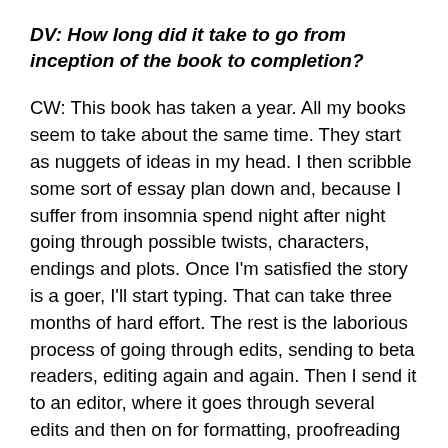DV: How long did it take to go from inception of the book to completion?
CW: This book has taken a year. All my books seem to take about the same time. They start as nuggets of ideas in my head. I then scribble some sort of essay plan down and, because I suffer from insomnia spend night after night going through possible twists, characters, endings and plots. Once I'm satisfied the story is a goer, I'll start typing. That can take three months of hard effort. The rest is the laborious process of going through edits, sending to beta readers, editing again and again. Then I send it to an editor, where it goes through several edits and then on for formatting, proofreading and publishing. I was extremely fortunate to have excellent beta readers on this